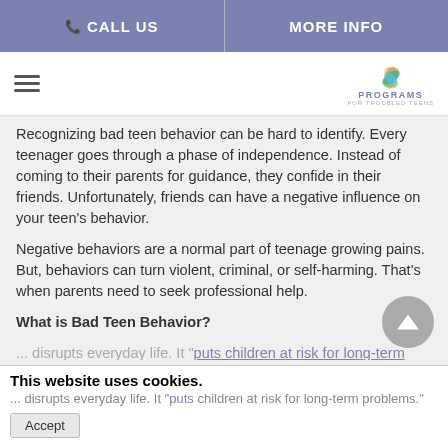CALL US | MORE INFO
[Figure (logo): Programs For Troubled Teens logo with lotus flower graphic]
Recognizing bad teen behavior can be hard to identify. Every teenager goes through a phase of independence. Instead of coming to their parents for guidance, they confide in their friends. Unfortunately, friends can have a negative influence on your teen's behavior.
Negative behaviors are a normal part of teenage growing pains. But, behaviors can turn violent, criminal, or self-harming. That's when parents need to seek professional help.
What is Bad Teen Behavior?
... disrupts everyday life. It "puts children at risk for long-term problems."
This website uses cookies.
Accept